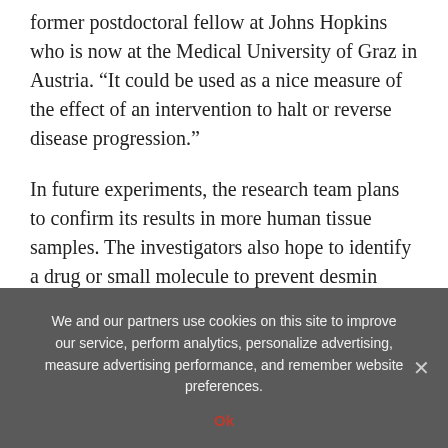former postdoctoral fellow at Johns Hopkins who is now at the Medical University of Graz in Austria. “It could be used as a nice measure of the effect of an intervention to halt or reverse disease progression.”
In future experiments, the research team plans to confirm its results in more human tissue samples. The investigators also hope to identify a drug or small molecule to prevent desmin from forming clumps.
“There is a lot of emphasis placed on the role of genes in modern times, but we’re born with our genes and at
We and our partners use cookies on this site to improve our service, perform analytics, personalize advertising, measure advertising performance, and remember website preferences.
Ok